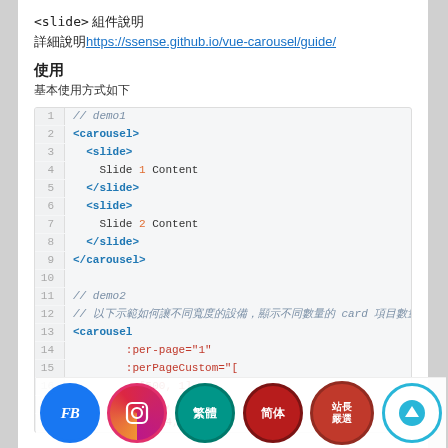<slide> 組件說明
詳細說明https://ssense.github.io/vue-carousel/guide/
使用
基本使用方式如下
[Figure (screenshot): Code block showing carousel and slide HTML markup with line numbers 1-18, including demo1 and demo2 comments and per-page attributes]
[Figure (infographic): Social media and language icons overlay bar at the bottom: FB, Instagram, 繁體 (Traditional Chinese), 简体 (Simplified Chinese), 站長嚴選, and upload arrow icons]